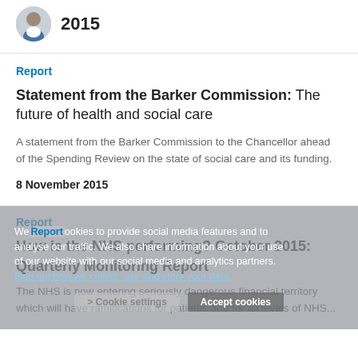[Figure (photo): Small circular avatar photo of a person (man) alongside bold year text '2015']
Report
Statement from the Barker Commission: The future of health and social care
A statement from the Barker Commission to the Chancellor ahead of the Spending Review on the state of social care and its funding.
8 November 2015
Report
How is the NHS performing? October 2015: Quarterly Monitoring Report
The NHS is now entering seriously dangerous financial territory which will have ramifications for patients and for all levels of NHS...